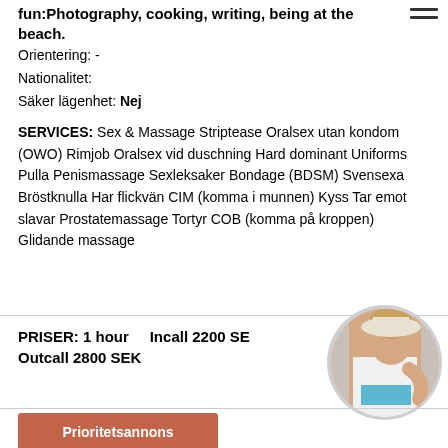fun:Photography, cooking, writing, being at the beach.
Orientering: -
Nationalitet:
Säker lägenhet: Nej
SERVICES: Sex & Massage Striptease Oralsex utan kondom (OWO) Rimjob Oralsex vid duschning Hard dominant Uniforms Pulla Penismassage Sexleksaker Bondage (BDSM) Svensexa Bröstknulla Har flickvän CIM (komma i munnen) Kyss Tar emot slavar Prostatemassage Tortyr COB (komma på kroppen) Glidande massage
PRISER: 1 hour    Incall 2200 SEK    Outcall 2800 SEK
[Figure (photo): Circular thumbnail photo of a woman in white top and blue shorts]
Prioritetsannons